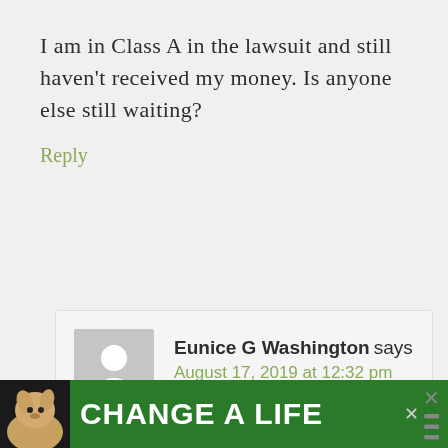I am in Class A in the lawsuit and still haven't received my money. Is anyone else still waiting?
Reply
Eunice G Washington says
August 17, 2019 at 12:32 pm
[Figure (other): Advertisement banner with dog photo and text CHANGE A LIFE]
k. X